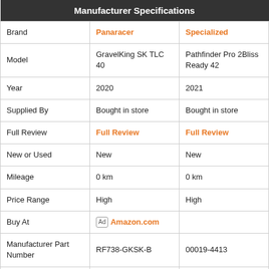|  | Panaracer | Specialized |
| --- | --- | --- |
| Brand | Panaracer | Specialized |
| Model | GravelKing SK TLC 40 | Pathfinder Pro 2Bliss Ready 42 |
| Year | 2020 | 2021 |
| Supplied By | Bought in store | Bought in store |
| Full Review | Full Review | Full Review |
| New or Used | New | New |
| Mileage | 0 km | 0 km |
| Price Range | High | High |
| Buy At | Ad Amazon.com |  |
| Manufacturer Part Number | RF738-GKSK-B | 00019-4413 |
| EAN | 4931253016257 |  |
| TPI | - | 120 |
| Compound | ZSG | Gripton |